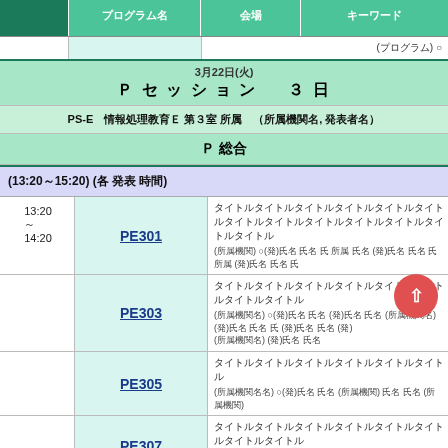|  | プログラム名 | 会場 | キーワード |  |
| --- | --- | --- | --- | --- |
|  |  |  |  | (プログラム) ○ |
| 3月22日(火) Pセッション 3日 |  |  |  |  |
| PS-E　情報処理教育E 第3室 所属　(所属機関名, 発表者名) |  |  |  |  |
| P 総合 |  |  |  |  |
| (13:20～15:20) (各 発表 時間) |  |  |  |  |
| 13:20 ～ 14:20 | PE301 | タイトルタイトルタイトルタイトルタイトルタイトルタイトル |  |  |
|  | PE303 | タイトルタイトルタイトルタイトルタイトル |  |  |
|  | PE305 | タイトルタイトルタイトルタイトル |  |  |
|  | PE307 | タイトルタイトルタイトルタイトルタイトルタイトルタイトル |  |  |
|  | PE309 | タイトルタイトルタイトルタイトルタイトルタイトルタイトルタイトル |  |  |
|  | PE311 | タイトルタイトルタイトルタイトルタイトルタイトルタイトルタイトル |  |  |